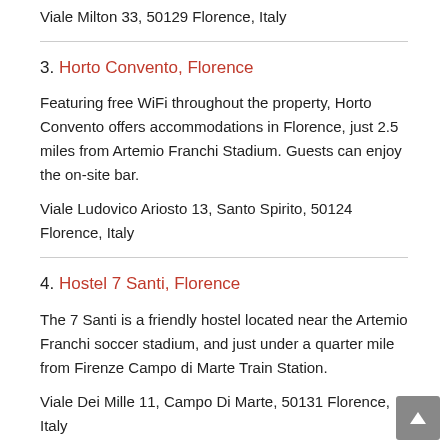Viale Milton 33, 50129 Florence, Italy
3. Horto Convento, Florence
Featuring free WiFi throughout the property, Horto Convento offers accommodations in Florence, just 2.5 miles from Artemio Franchi Stadium. Guests can enjoy the on-site bar.
Viale Ludovico Ariosto 13, Santo Spirito, 50124 Florence, Italy
4. Hostel 7 Santi, Florence
The 7 Santi is a friendly hostel located near the Artemio Franchi soccer stadium, and just under a quarter mile from Firenze Campo di Marte Train Station.
Viale Dei Mille 11, Campo Di Marte, 50131 Florence, Italy